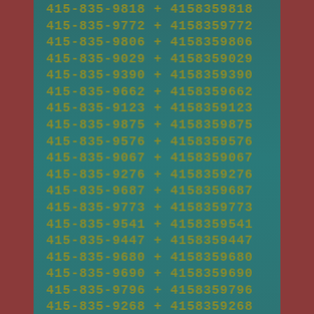415-835-9818 + 4158359818
415-835-9772 + 4158359772
415-835-9806 + 4158359806
415-835-9029 + 4158359029
415-835-9390 + 4158359390
415-835-9662 + 4158359662
415-835-9123 + 4158359123
415-835-9875 + 4158359875
415-835-9576 + 4158359576
415-835-9067 + 4158359067
415-835-9276 + 4158359276
415-835-9687 + 4158359687
415-835-9773 + 4158359773
415-835-9541 + 4158359541
415-835-9447 + 4158359447
415-835-9680 + 4158359680
415-835-9690 + 4158359690
415-835-9796 + 4158359796
415-835-9268 + 4158359268
415-835-9651 + 4158359651
415-835-9019 + 4158359019
415-835-9224 + 4158359224
415-835-9147 + 4158359147